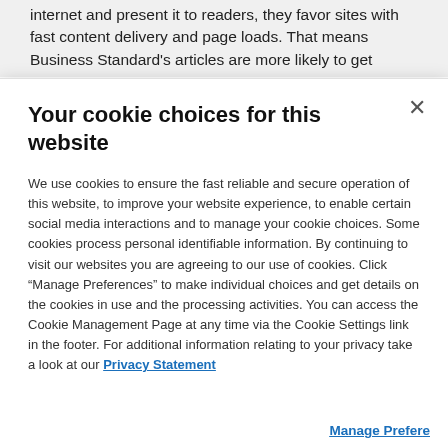internet and present it to readers, they favor sites with fast content delivery and page loads. That means Business Standard's articles are more likely to get
Your cookie choices for this website
We use cookies to ensure the fast reliable and secure operation of this website, to improve your website experience, to enable certain social media interactions and to manage your cookie choices. Some cookies process personal identifiable information. By continuing to visit our websites you are agreeing to our use of cookies. Click “Manage Preferences” to make individual choices and get details on the cookies in use and the processing activities. You can access the Cookie Management Page at any time via the Cookie Settings link in the footer. For additional information relating to your privacy take a look at our Privacy Statement
Manage Preferences